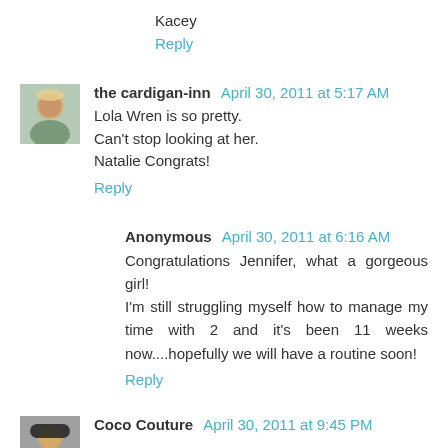Kacey
Reply
the cardigan-inn April 30, 2011 at 5:17 AM
Lola Wren is so pretty.
Can't stop looking at her.
Natalie Congrats!
Reply
Anonymous April 30, 2011 at 6:16 AM
Congratulations Jennifer, what a gorgeous girl!
I'm still struggling myself how to manage my time with 2 and it's been 11 weeks now....hopefully we will have a routine soon!
Reply
Coco Couture April 30, 2011 at 9:45 PM